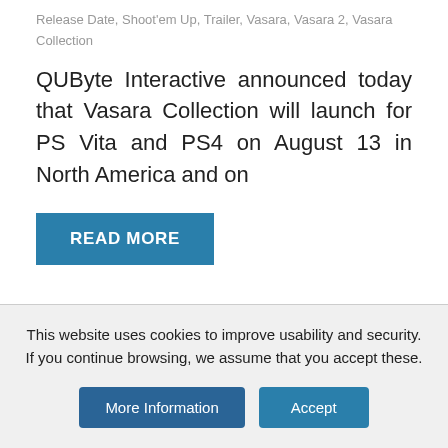Release Date, Shoot'em Up, Trailer, Vasara, Vasara 2, Vasara Collection
QUByte Interactive announced today that Vasara Collection will launch for PS Vita and PS4 on August 13 in North America and on
READ MORE
This website uses cookies to improve usability and security. If you continue browsing, we assume that you accept these.
More Information
Accept